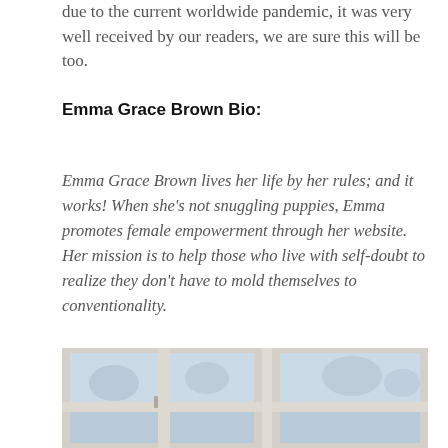due to the current worldwide pandemic, it was very well received by our readers, we are sure this will be too.
Emma Grace Brown Bio:
Emma Grace Brown lives her life by her rules; and it works! When she’s not snuggling puppies, Emma promotes female empowerment through her website. Her mission is to help those who live with self-doubt to realize they don’t have to mold themselves to conventionality.
[Figure (photo): Photo of white-framed windows viewed from inside, with trees visible outside through the glass panes.]